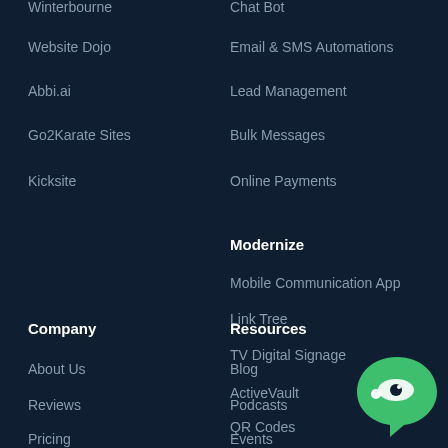Winterbourne
Website Dojo
Abbi.ai
Go2Karate Sites
Kicksite
Chat Bot
Email & SMS Automations
Lead Management
Bulk Messages
Online Payments
Modernize
Mobile Communication App
Link Tree
TV Digital Signage
ActiveVault
QR Codes
Company
Resources
About Us
Reviews
Pricing
Blog
Podcasts
Events
[Figure (logo): Green chat bubble logo with white eye/chat icon]